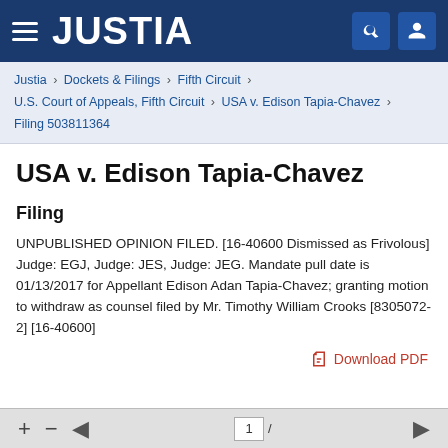JUSTIA
Justia › Dockets & Filings › Fifth Circuit › U.S. Court of Appeals, Fifth Circuit › USA v. Edison Tapia-Chavez › Filing 503811364
USA v. Edison Tapia-Chavez
Filing
UNPUBLISHED OPINION FILED. [16-40600 Dismissed as Frivolous] Judge: EGJ, Judge: JES, Judge: JEG. Mandate pull date is 01/13/2017 for Appellant Edison Adan Tapia-Chavez; granting motion to withdraw as counsel filed by Mr. Timothy William Crooks [8305072-2] [16-40600]
Download PDF